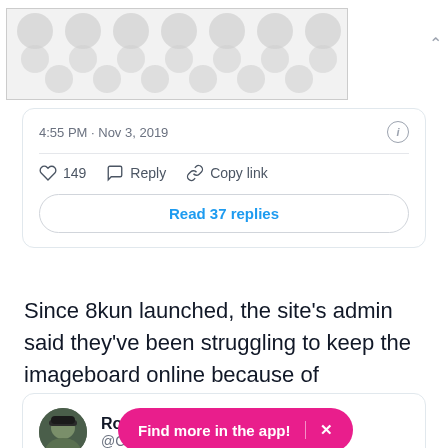[Figure (other): Banner image with grey polka dot pattern on light background]
4:55 PM · Nov 3, 2019
149  Reply  Copy link
Read 37 replies
Since 8kun launched, the site's admin said they've been struggling to keep the imageboard online because of cyberattacks.
[Figure (photo): User avatar photo of person wearing a cap outdoors]
Ro
@CodeMonkeyZ
Find more in the app!  X